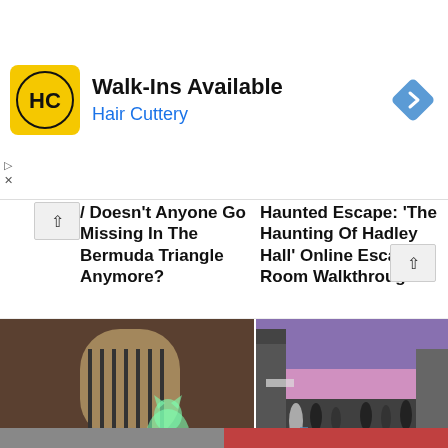[Figure (logo): Hair Cuttery advertisement banner with yellow HC logo, 'Walk-Ins Available' headline, 'Hair Cuttery' subtitle in blue, and blue diamond navigation icon]
/ Doesn't Anyone Go Missing In The Bermuda Triangle Anymore?
Haunted Escape: 'The Haunting Of Hadley Hall' Online Escape Room Walkthrough
[Figure (photo): Dark stone room with arched window/gate with iron bars, a glowing green ghost cat figure visible inside]
[Figure (photo): Busy pedestrian street at dusk with purple sky, shopfronts, people walking]
10 Most Famous Animal Ghosts In The UK
Yorkshire Ghosts & Hauntings Quiz